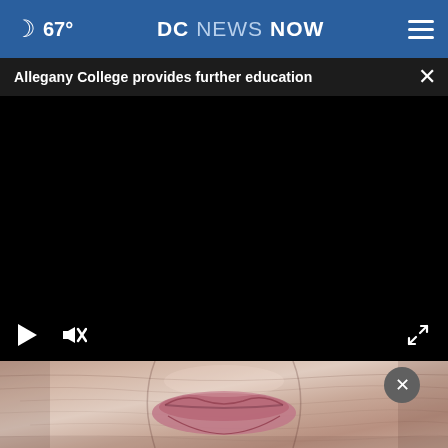67° DC NEWS NOW
Allegany College provides further education
[Figure (screenshot): Video player showing a dark/black screen with play and mute controls at bottom left and fullscreen icon at bottom right]
[Figure (photo): Close-up photo of an elderly person's lower face showing wrinkled skin and lips, with a gray circular close button overlaid]